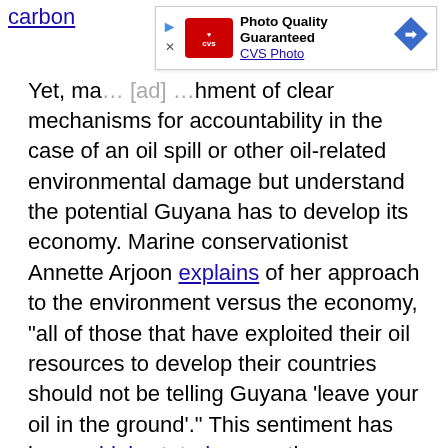carbon
[Figure (other): CVS Photo advertisement banner with play button icon, CVS pharmacy logo in red, text 'Photo Quality Guaranteed' and 'CVS Photo', and a blue navigation arrow icon on the right.]
Yet, many [text obscured by ad] hment of clear mechanisms for accountability in the case of an oil spill or other oil-related environmental damage but understand the potential Guyana has to develop its economy. Marine conservationist Annette Arjoon explains of her approach to the environment versus the economy, “all of those that have exploited their oil resources to develop their countries should not be telling Guyana ‘leave your oil in the ground’.” This sentiment has been widely stated across the Caribbean and African countries.
Meanwhile, Several Guyanese politicians have accused Exxon of cheating the country out of billions of dollars by entering into a contract with an inexperienced government, which offers too little money for Guyana’s resources. Oil production could contribute as much as $150 billion to the Guyanese economy over the next three decades. This would support the small population of 800,000, around 40